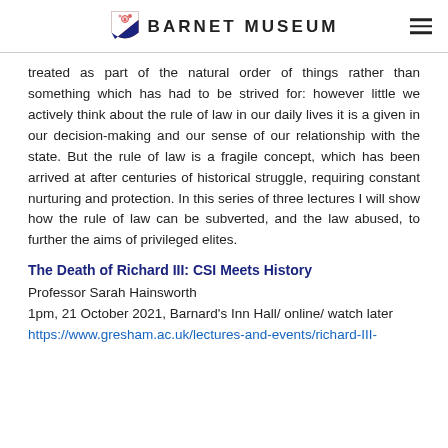BARNET MUSEUM
treated as part of the natural order of things rather than something which has had to be strived for: however little we actively think about the rule of law in our daily lives it is a given in our decision-making and our sense of our relationship with the state. But the rule of law is a fragile concept, which has been arrived at after centuries of historical struggle, requiring constant nurturing and protection. In this series of three lectures I will show how the rule of law can be subverted, and the law abused, to further the aims of privileged elites.
The Death of Richard III: CSI Meets History
Professor Sarah Hainsworth
1pm, 21 October 2021, Barnard's Inn Hall/ online/ watch later
https://www.gresham.ac.uk/lectures-and-events/richard-III-